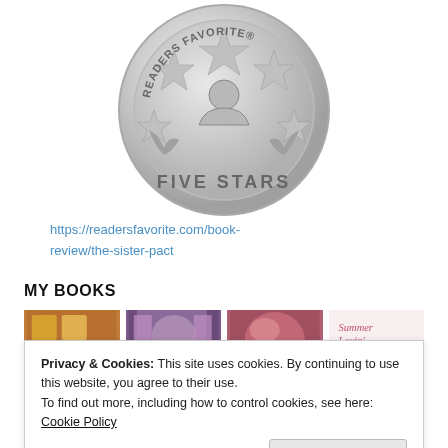[Figure (logo): Readers Favorite Five Stars silver medallion badge]
https://readersfavorite.com/book-review/the-sister-pact
MY BOOKS
[Figure (photo): Row of book cover thumbnails]
Privacy & Cookies: This site uses cookies. By continuing to use this website, you agree to their use. To find out more, including how to control cookies, see here: Cookie Policy
Close and accept
[Figure (photo): Second row of book cover thumbnails at the bottom]